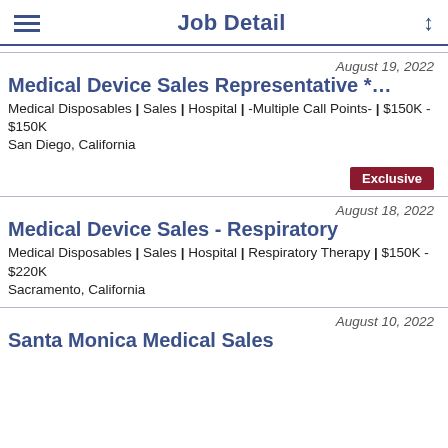Job Detail
August 19, 2022
Medical Device Sales Representative *…
Medical Disposables | Sales | Hospital | -Multiple Call Points- | $150K - $150K
San Diego, California
Exclusive
August 18, 2022
Medical Device Sales - Respiratory
Medical Disposables | Sales | Hospital | Respiratory Therapy | $150K - $220K
Sacramento, California
August 10, 2022
Santa Monica Medical Sales